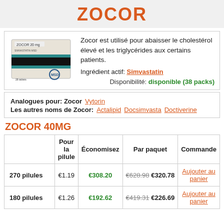ZOCOR
[Figure (photo): Zocor 20mg medication box photo]
Zocor est utilisé pour abaisser le cholestérol élevé et les triglycérides aux certains patients.
Ingrédient actif: Simvastatin
Disponibilité: disponible (38 packs)
Analogues pour: Zocor   Vytorin
Les autres noms de Zocor:   Actalipid   Docsimvasta   Doctiverine
ZOCOR 40MG
|  | Pour la pilule | Économisez | Par paquet | Commande |
| --- | --- | --- | --- | --- |
| 270 pilules | €1.19 | €308.20 | €628.98 €320.78 | Aujouter au panier |
| 180 pilules | €1.26 | €192.62 | €419.31 €226.69 | Aujouter au panier |